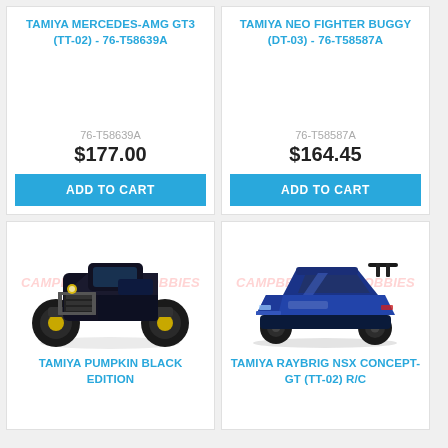TAMIYA MERCEDES-AMG GT3 (TT-02) - 76-T58639A
76-T58639A
$177.00
ADD TO CART
TAMIYA NEO FIGHTER BUGGY (DT-03) - 76-T58587A
76-T58587A
$164.45
ADD TO CART
[Figure (photo): TAMIYA Pumpkin Black Edition monster truck RC car, black body with yellow wheels, watermark: CAMPBELLTOWN HOBBIES]
TAMIYA PUMPKIN BLACK EDITION
[Figure (photo): TAMIYA Raybrig NSX Concept-GT (TT-02) R/C blue sports car, watermark: CAMPBELLTOWN HOBBIES]
TAMIYA RAYBRIG NSX CONCEPT-GT (TT-02) R/C